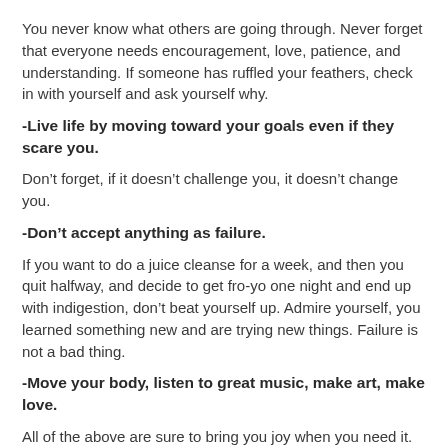You never know what others are going through. Never forget that everyone needs encouragement, love, patience, and understanding. If someone has ruffled your feathers, check in with yourself and ask yourself why.
-Live life by moving toward your goals even if they scare you.
Don’t forget, if it doesn’t challenge you, it doesn’t change you.
-Don’t accept anything as failure.
If you want to do a juice cleanse for a week, and then you quit halfway, and decide to get fro-yo one night and end up with indigestion, don’t beat yourself up. Admire yourself, you learned something new and are trying new things. Failure is not a bad thing.
-Move your body, listen to great music, make art, make love.
All of the above are sure to bring you joy when you need it.